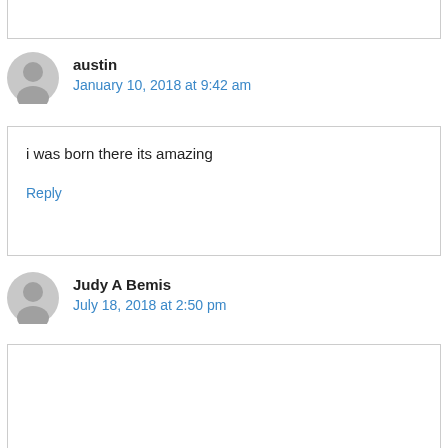austin
January 10, 2018 at 9:42 am
i was born there its amazing
Reply
Judy A Bemis
July 18, 2018 at 2:50 pm